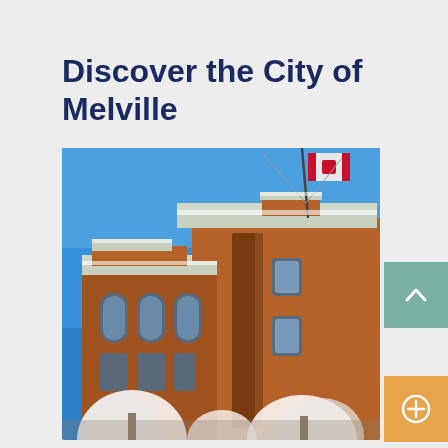Discover the City of Melville
[Figure (photo): Photograph of a historic red brick building (likely City Hall of Melville) with snow-covered trees in winter, against a bright blue sky. A Canadian flag is visible on a flagpole.]